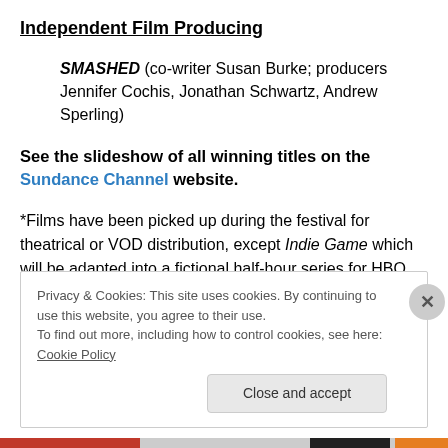Independent Film Producing
SMASHED (co-writer Susan Burke; producers Jennifer Cochis, Jonathan Schwartz, Andrew Sperling)
See the slideshow of all winning titles on the Sundance Channel website.
*Films have been picked up during the festival for theatrical or VOD distribution, except Indie Game which will be adapted into a fictional half-hour series for HBO.
Privacy & Cookies: This site uses cookies. By continuing to use this website, you agree to their use. To find out more, including how to control cookies, see here: Cookie Policy